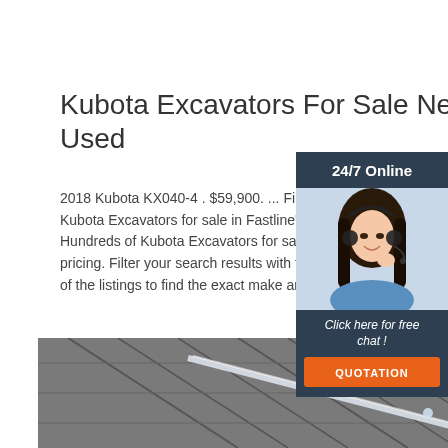Kubota Excavators For Sale New & Used
2018 Kubota KX040-4 . $59,900. ... Find new Kubota Excavators for sale in Fastline's large d Hundreds of Kubota Excavators for sale with c pricing. Filter your search results with the tool of the listings to find the exact make and mode
[Figure (photo): Customer service representative woman with headset, alongside 24/7 Online support panel with 'Click here for free chat!' and QUOTATION button]
Get Price
[Figure (photo): Close-up photo of a ceiling with diagonal structural lines and lighting fixtures]